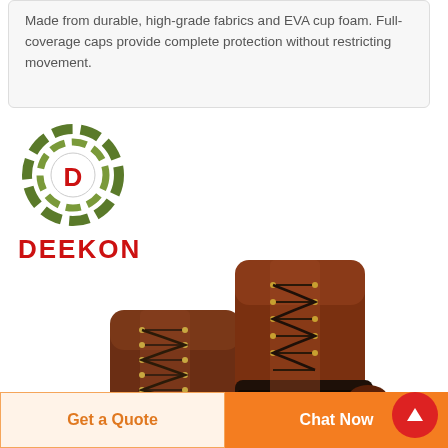Made from durable, high-grade fabrics and EVA cup foam. Full-coverage caps provide complete protection without restricting movement.
[Figure (logo): DEEKON brand logo: circular camouflage-pattern emblem with a red D in the center, above bold red DEEKON text]
[Figure (photo): Two brown leather lace-up work/military boots photographed on white background]
Get a Quote
Chat Now